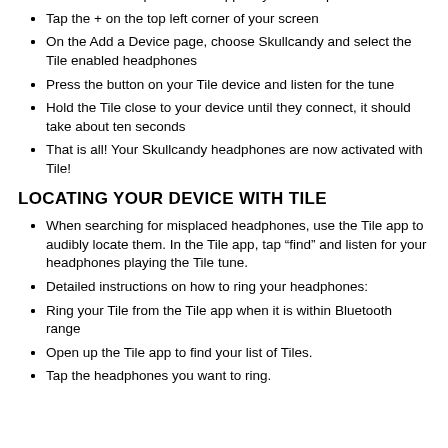Download and open the Tile app on your smartphone or tablet
Tap the + on the top left corner of your screen
On the Add a Device page, choose Skullcandy and select the Tile enabled headphones
Press the button on your Tile device and listen for the tune
Hold the Tile close to your device until they connect, it should take about ten seconds
That is all! Your Skullcandy headphones are now activated with Tile!
LOCATING YOUR DEVICE WITH TILE
When searching for misplaced headphones, use the Tile app to audibly locate them. In the Tile app, tap “find” and listen for your headphones playing the Tile tune.
Detailed instructions on how to ring your headphones:
Ring your Tile from the Tile app when it is within Bluetooth range
Open up the Tile app to find your list of Tiles.
Tap the headphones you want to ring.